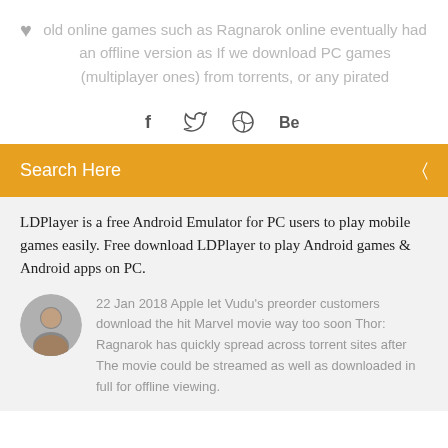old online games such as Ragnarok online eventually had an offline version as If we download PC games (multiplayer ones) from torrents, or any pirated
[Figure (other): Social media share icons: Facebook (f), Twitter (bird), Dribbble (circle with lines), Behance (Be)]
Search Here
LDPlayer is a free Android Emulator for PC users to play mobile games easily. Free download LDPlayer to play Android games & Android apps on PC.
[Figure (photo): Circular avatar photo of a man]
22 Jan 2018 Apple let Vudu's preorder customers download the hit Marvel movie way too soon Thor: Ragnarok has quickly spread across torrent sites after The movie could be streamed as well as downloaded in full for offline viewing.